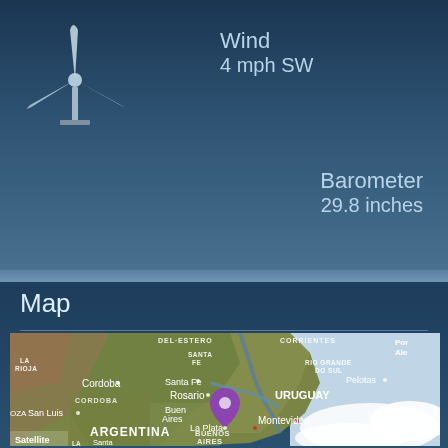[Figure (infographic): Wind turbine icon (windmill silhouette in white/grey on dark blue background)]
Wind
4 mph SW
Barometer
29.8 inches
Map
[Figure (map): Satellite map showing Argentina and Uruguay region with cities labeled: DEL ESTERO, CORRIENTES, LA RIOJA, SANTA FE, RIO GRANDE DO SUL, Por Ale (Porto Alegre), Cordoba, Santa Fe, Pelotas, Rosario, URUGUAY, CORDOBA, San Luis, Buenos Aires (with purple pin marker), Montevideo, La Plata, OZA (Mendoza), ARGENTINA, BUENOS AIRES, Santa Rosa, LA PAMPA. 'Satellite' label at bottom-left corner.]